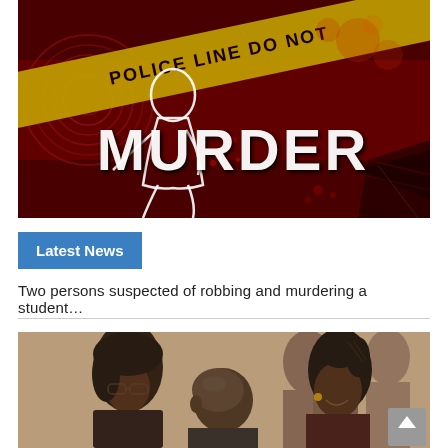[Figure (photo): Dark red crime scene graphic with a white chalk outline of a body, a fingerprint background, police tape reading 'POLICE LINE DO NOT', and large white text reading 'MURDER'.]
Latest News
Two persons suspected of robbing and murdering a student…
[Figure (photo): A group of people, including a man and two women, appearing to be at a meeting or gathering. The photo is cropped at the bottom.]